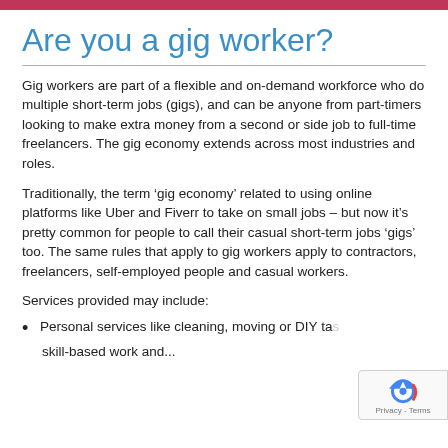Are you a gig worker?
Gig workers are part of a flexible and on-demand workforce who do multiple short-term jobs (gigs), and can be anyone from part-timers looking to make extra money from a second or side job to full-time freelancers. The gig economy extends across most industries and roles.
Traditionally, the term ‘gig economy’ related to using online platforms like Uber and Fiverr to take on small jobs – but now it’s pretty common for people to call their casual short-term jobs ‘gigs’ too. The same rules that apply to gig workers apply to contractors, freelancers, self-employed people and casual workers.
Services provided may include:
Personal services like cleaning, moving or DIY ta...
skill-based work and...